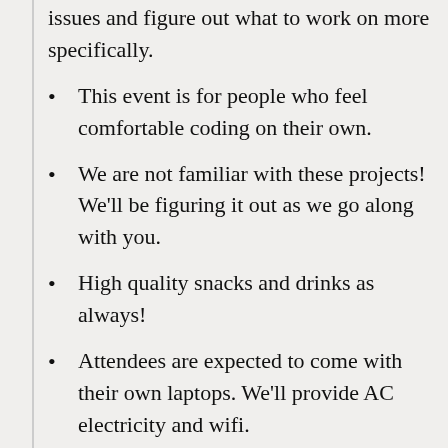issues and figure out what to work on more specifically.
This event is for people who feel comfortable coding on their own.
We are not familiar with these projects! We'll be figuring it out as we go along with you.
High quality snacks and drinks as always!
Attendees are expected to come with their own laptops. We'll provide AC electricity and wifi.
Feel free to arrive at any point, most people come around 6:30 to 7:00.
Join online